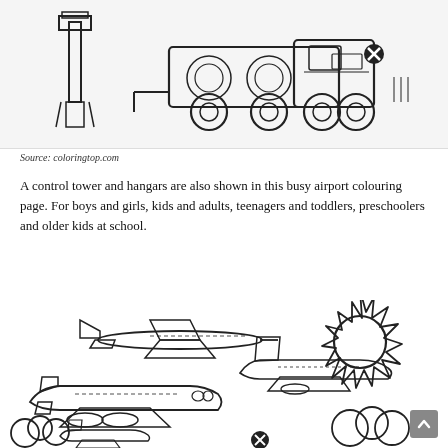[Figure (illustration): Coloring page illustration showing a fuel truck or airport ground vehicle with large wheels at an airport, with a control tower visible on the left side. Black and white line drawing on light gray background.]
Source: coloringtop.com
A control tower and hangars are also shown in this busy airport colouring page. For boys and girls, kids and adults, teenagers and toddlers, preschoolers and older kids at school.
[Figure (illustration): Coloring page illustration showing multiple airplanes flying in the sky with a sun with spiky rays and clouds. Black and white line drawing. Shows at least three airplanes of different sizes and styles flying around a large circular sun.]